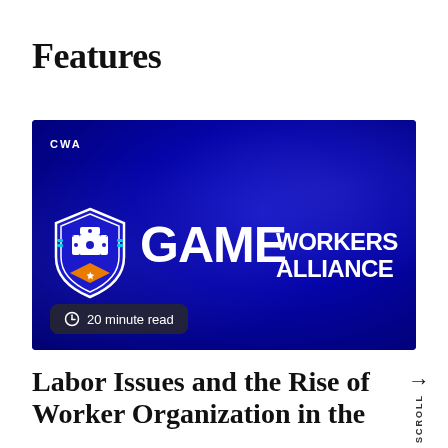Features
[Figure (photo): CWA Game Workers Alliance logo on a dark blue background, with a shield bearing the letters G, W, A and a gamepad cross icon, alongside large bold text reading GAME WORKERS ALLIANCE. A badge in the lower left reads '20 minute read'.]
Labor Issues and the Rise of Worker Organization in the